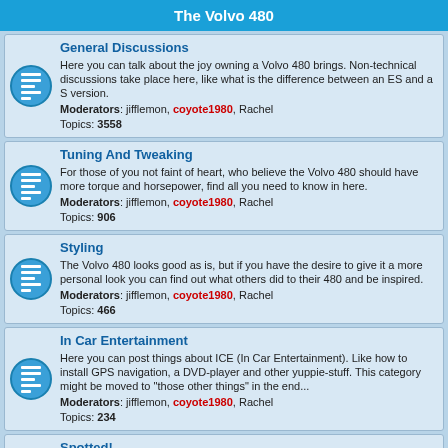The Volvo 480
General Discussions
Here you can talk about the joy owning a Volvo 480 brings. Non-technical discussions take place here, like what is the difference between an ES and a S version.
Moderators: jifflemon, coyote1980, Rachel
Topics: 3558
Tuning And Tweaking
For those of you not faint of heart, who believe the Volvo 480 should have more torque and horsepower, find all you need to know in here.
Moderators: jifflemon, coyote1980, Rachel
Topics: 906
Styling
The Volvo 480 looks good as is, but if you have the desire to give it a more personal look you can find out what others did to their 480 and be inspired.
Moderators: jifflemon, coyote1980, Rachel
Topics: 466
In Car Entertainment
Here you can post things about ICE (In Car Entertainment). Like how to install GPS navigation, a DVD-player and other yuppie-stuff. This category might be moved to "those other things" in the end...
Moderators: jifflemon, coyote1980, Rachel
Topics: 234
Spotted!
When you spot a 480 and wonder if it's someone from the forum: ask it here! One rule: do NOT post registration plates.
Moderators: jifflemon, coyote1980, Rachel
Topics: 696
The secret life of a 480 owner...
Here you can start a thread about your 480 days. Only the starter of the thread is allowed to fill his thread, and only one thread per person. Threads